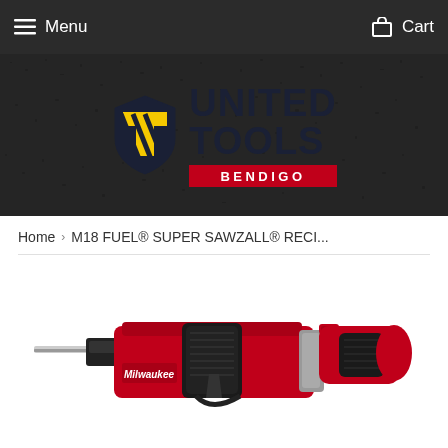Menu  Cart
[Figure (logo): United Tools Bendigo logo on dark textured background banner]
Home › M18 FUEL® SUPER SAWZALL® RECI...
[Figure (photo): Milwaukee M18 FUEL Super Sawzall reciprocating saw in red and black, shown at an angle against white background]